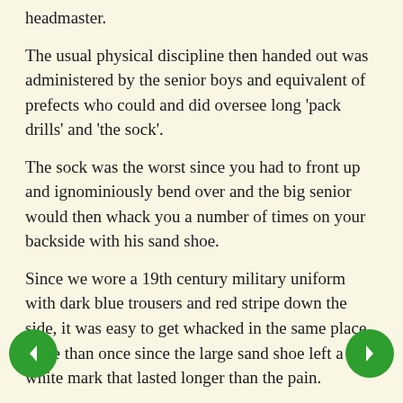headmaster.
The usual physical discipline then handed out was administered by the senior boys and equivalent of prefects who could and did oversee long 'pack drills' and 'the sock'.
The sock was the worst since you had to front up and ignominiously bend over and the big senior would then whack you a number of times on your backside with his sand shoe.
Since we wore a 19th century military uniform with dark blue trousers and red stripe down the side, it was easy to get whacked in the same place more than once since the large sand shoe left a white mark that lasted longer than the pain.